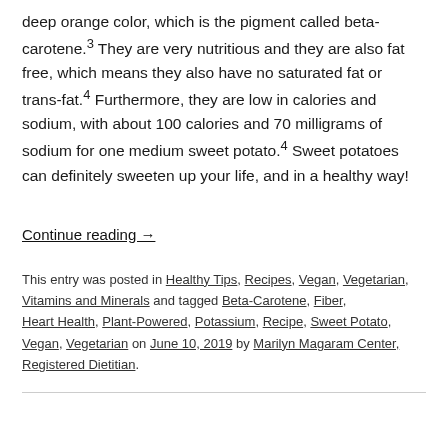deep orange color, which is the pigment called beta-carotene.3 They are very nutritious and they are also fat free, which means they also have no saturated fat or trans-fat.4 Furthermore, they are low in calories and sodium, with about 100 calories and 70 milligrams of sodium for one medium sweet potato.4 Sweet potatoes can definitely sweeten up your life, and in a healthy way!
Continue reading →
This entry was posted in Healthy Tips, Recipes, Vegan, Vegetarian, Vitamins and Minerals and tagged Beta-Carotene, Fiber, Heart Health, Plant-Powered, Potassium, Recipe, Sweet Potato, Vegan, Vegetarian on June 10, 2019 by Marilyn Magaram Center, Registered Dietitian.